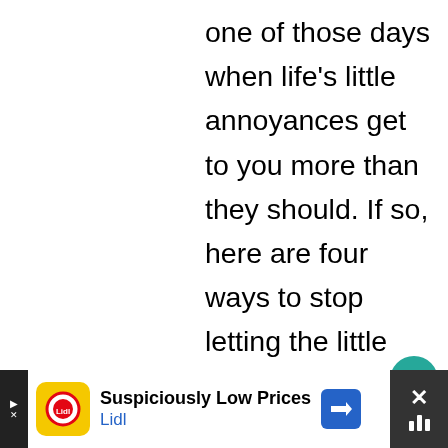one of those days when life's little annoyances get to you more than they should. If so, here are four ways to stop letting the little things bother you.
What are your top tips for wanting less and being content with what you have? Or is this is hard for you, what your biggest struggle? Let me know in the comments! x
[Figure (screenshot): Ad banner for Lidl 'Suspiciously Low Prices' with yellow Lidl logo icon, blue arrow direction sign, and dark close button]